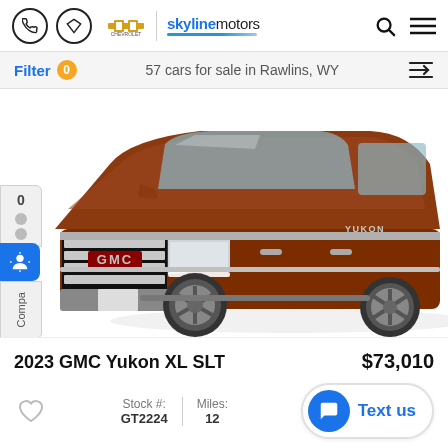Skyline Motors Chevrolet - navigation header
Filter 0 — 57 cars for sale in Rawlins, WY
[Figure (photo): Front three-quarter view of a 2023 GMC Yukon XL SLT in dark copper/brown metallic color, showing the chrome grille with red GMC lettering, headlights, and front wheel.]
2023 GMC Yukon XL SLT
$73,010
Stock #: GT2224  Miles: 12
Text us